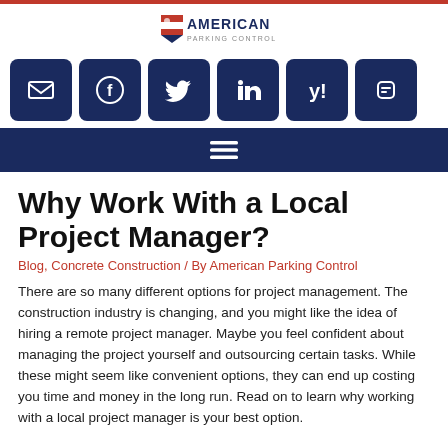[Figure (logo): American Parking Control logo with US flag shield icon and stylized text]
[Figure (infographic): Row of six dark navy square social media icon buttons: email, Facebook, Twitter, LinkedIn, Yelp, Blogger]
[Figure (infographic): Dark navy navigation bar with hamburger menu icon (three horizontal lines)]
Why Work With a Local Project Manager?
Blog, Concrete Construction / By American Parking Control
There are so many different options for project management. The construction industry is changing, and you might like the idea of hiring a remote project manager. Maybe you feel confident about managing the project yourself and outsourcing certain tasks. While these might seem like convenient options, they can end up costing you time and money in the long run. Read on to learn why working with a local project manager is your best option.